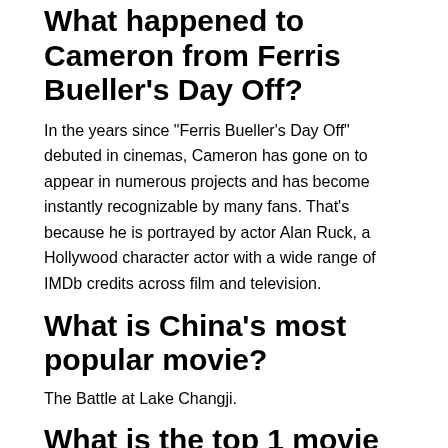What happened to Cameron from Ferris Bueller's Day Off?
In the years since “Ferris Bueller’s Day Off” debuted in cinemas, Cameron has gone on to appear in numerous projects and has become instantly recognizable by many fans. That’s because he is portrayed by actor Alan Ruck, a Hollywood character actor with a wide range of IMDb credits across film and television.
What is China’s most popular movie?
The Battle at Lake Changji.
What is the top 1 movie in the world?
Top Lifetime GrossesRankTitleYear1Avatar20092Avengers: